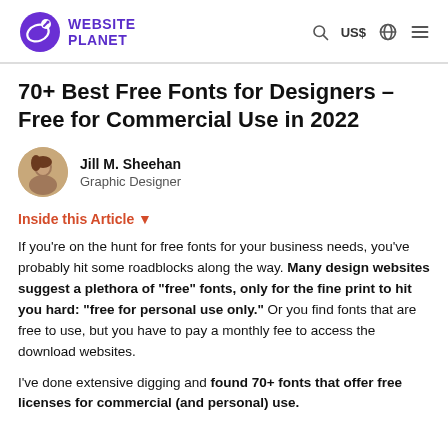WEBSITE PLANET | US$ | [search icon] [globe icon] [menu icon]
70+ Best Free Fonts for Designers – Free for Commercial Use in 2022
Jill M. Sheehan
Graphic Designer
Inside this Article ▼
If you're on the hunt for free fonts for your business needs, you've probably hit some roadblocks along the way. Many design websites suggest a plethora of "free" fonts, only for the fine print to hit you hard: "free for personal use only." Or you find fonts that are free to use, but you have to pay a monthly fee to access the download websites.
I've done extensive digging and found 70+ fonts that offer free licenses for commercial (and personal) use.